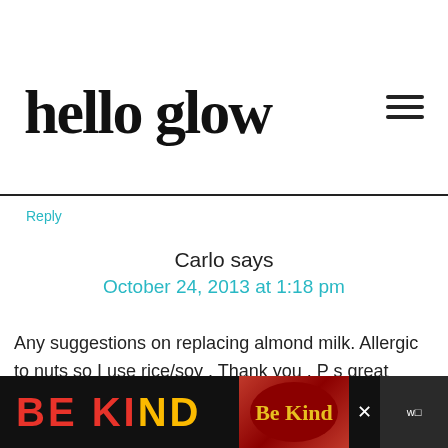hello glow
Reply
Carlo says
October 24, 2013 at 1:18 pm
Any suggestions on replacing almond milk. Allergic to nuts so I use rice/soy . Thank you . P s great smoothies which looking forward
[Figure (infographic): BE KIND advertisement banner at bottom of page]